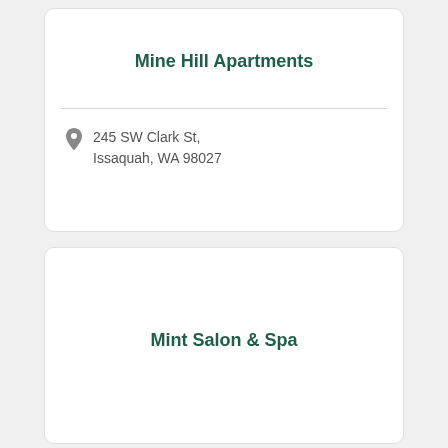Mine Hill Apartments
245 SW Clark St, Issaquah, WA 98027
Mint Salon & Spa